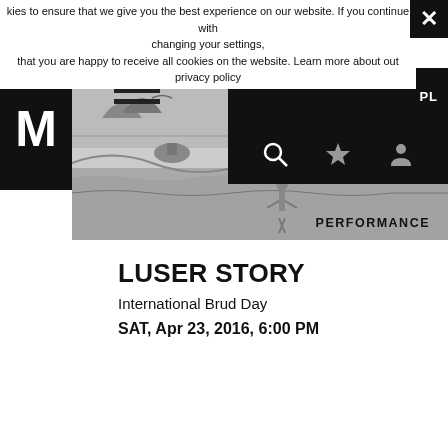kies to ensure that we give you the best experience on our website. If you continue with changing your settings, that you are happy to receive all cookies on the website. Learn more about out privacy policy
[Figure (screenshot): Museum website navigation bar with black M logo on left, historical woodcut illustration in center, black overlay on right with PL text and search/star/user icons, hamburger menu lines visible]
PERFORMANCE
LUSER STORY
International Brud Day
SAT, Apr 23, 2016, 6:00 PM